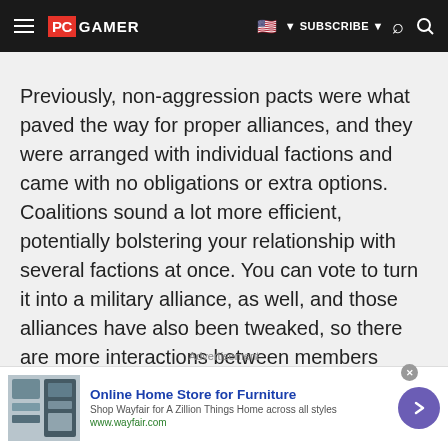PC GAMER | SUBSCRIBE
Previously, non-aggression pacts were what paved the way for proper alliances, and they were arranged with individual factions and came with no obligations or extra options. Coalitions sound a lot more efficient, potentially bolstering your relationship with several factions at once. You can vote to turn it into a military alliance, as well, and those alliances have also been tweaked, so there are more interactions between members across the board.
Advertisement
[Figure (infographic): Wayfair advertisement banner: Online Home Store for Furniture. Shop Wayfair for A Zillion Things Home across all styles. www.wayfair.com]